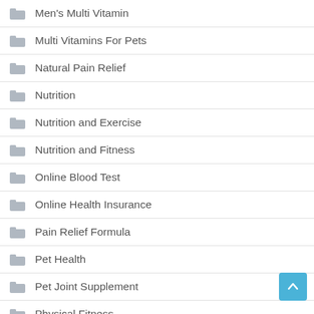Men's Multi Vitamin
Multi Vitamins For Pets
Natural Pain Relief
Nutrition
Nutrition and Exercise
Nutrition and Fitness
Online Blood Test
Online Health Insurance
Pain Relief Formula
Pet Health
Pet Joint Supplement
Physical Fitness